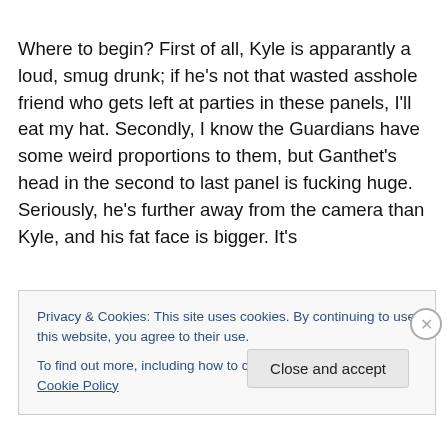Where to begin? First of all, Kyle is apparantly a loud, smug drunk; if he's not that wasted asshole friend who gets left at parties in these panels, I'll eat my hat. Secondly, I know the Guardians have some weird proportions to them, but Ganthet's head in the second to last panel is fucking huge. Seriously, he's further away from the camera than Kyle, and his fat face is bigger. It's
Privacy & Cookies: This site uses cookies. By continuing to use this website, you agree to their use.
To find out more, including how to control cookies, see here: Cookie Policy
Close and accept